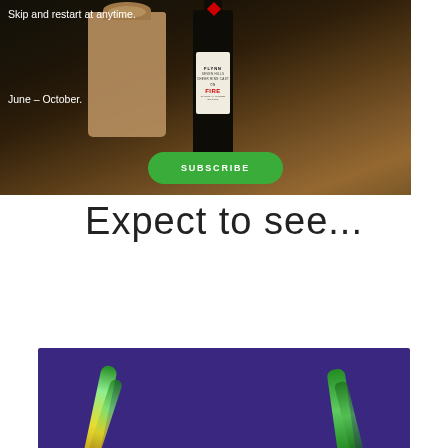Skip and restart at anytime.
June – October.
[Figure (photo): Photo of a brown paper bag and a dark bottle labeled FLYNN ON FIRE on a wooden surface, with a green SUBSCRIBE button overlay]
Expect to see...
[Figure (photo): Photo of vegetables (zucchini/squash) on a purple/blue background — cropped, showing bottom portion]